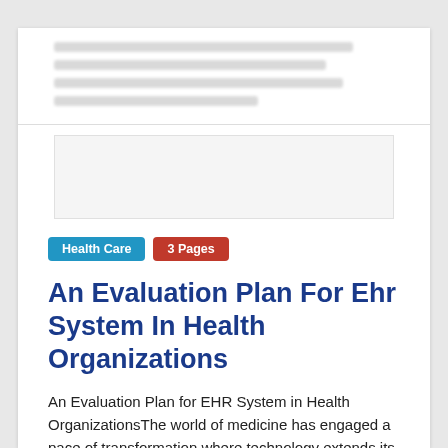[blurred/redacted text - previous page content continuation]
Health Care   3 Pages
An Evaluation Plan For Ehr System In Health Organizations
An Evaluation Plan for EHR System in Health OrganizationsThe world of medicine has engaged a pace of transformation where technology extends its impact of